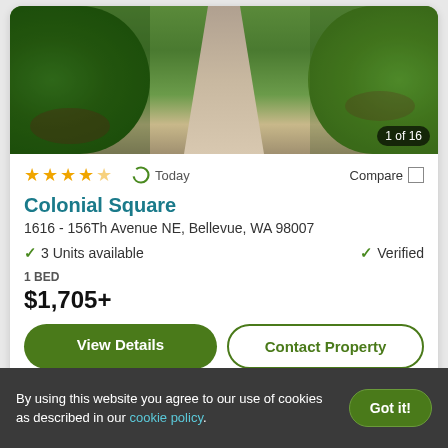[Figure (photo): Aerial view down a garden path flanked by tall green hedges, showing a concrete walkway receding into the distance. Counter badge shows '1 of 16'.]
★★★★★  Today  Compare
Colonial Square
1616 - 156Th Avenue NE, Bellevue, WA 98007
✓ 3 Units available   ✓ Verified
1 BED
$1,705+
View Details   Contact Property
Top Rated for Location
By using this website you agree to our use of cookies as described in our cookie policy.